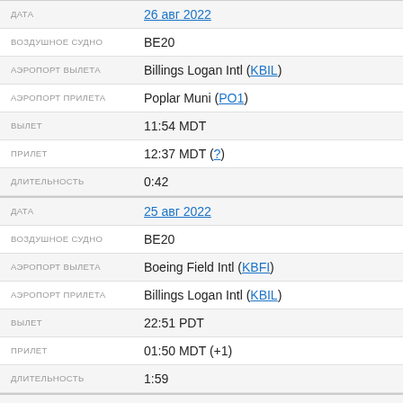| Field | Value |
| --- | --- |
| ДАТА | 26 авг 2022 |
| ВОЗДУШНОЕ СУДНО | BE20 |
| АЭРОПОРТ ВЫЛЕТА | Billings Logan Intl (KBIL) |
| АЭРОПОРТ ПРИЛЕТА | Poplar Muni (PO1) |
| ВЫЛЕТ | 11:54 MDT |
| ПРИЛЕТ | 12:37 MDT (?) |
| ДЛИТЕЛЬНОСТЬ | 0:42 |
| ДАТА | 25 авг 2022 |
| ВОЗДУШНОЕ СУДНО | BE20 |
| АЭРОПОРТ ВЫЛЕТА | Boeing Field Intl (KBFI) |
| АЭРОПОРТ ПРИЛЕТА | Billings Logan Intl (KBIL) |
| ВЫЛЕТ | 22:51 PDT |
| ПРИЛЕТ | 01:50 MDT (+1) |
| ДЛИТЕЛЬНОСТЬ | 1:59 |
| ДАТА | 25 авг 2022 |
| ВОЗДУШНОЕ СУДНО | BE20 |
| АЭРОПОРТ ПРИЛЕТА | Billings Logan Intl (KBIL) |